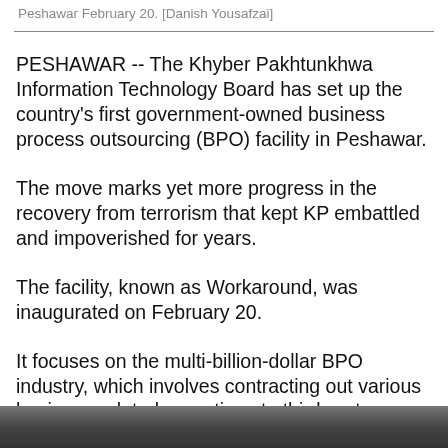Peshawar February 20. [Danish Yousafzai]
PESHAWAR -- The Khyber Pakhtunkhwa Information Technology Board has set up the country's first government-owned business process outsourcing (BPO) facility in Peshawar.
The move marks yet more progress in the recovery from terrorism that kept KP embattled and impoverished for years.
The facility, known as Workaround, was inaugurated on February 20.
It focuses on the multi-billion-dollar BPO industry, which involves contracting out various business-related operations to third-party vendors.
[Figure (photo): Partial photo strip at the bottom of the page showing an outdoor scene]